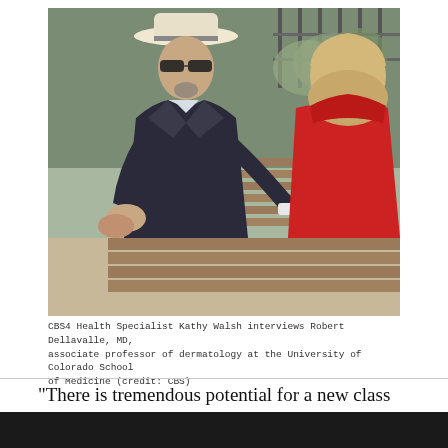[Figure (photo): CBS4 Health Specialist Kathy Walsh interviews Robert Dellavalle, MD, seated outdoors on a wooden bench. He wears a white hat, sunglasses, and a dark blazer with a tie. She is seen from behind wearing a red jacket. Trees and a fence are visible in the background.]
CBS4 Health Specialist Kathy Walsh interviews Robert Dellavalle, MD, associate professor of dermatology at the University of Colorado School of Medicine (credit: CBS)
"There is tremendous potential for a new class of medications to treat itch and inflammation that is not a steroid and is not an opioid," said Dellavalle.